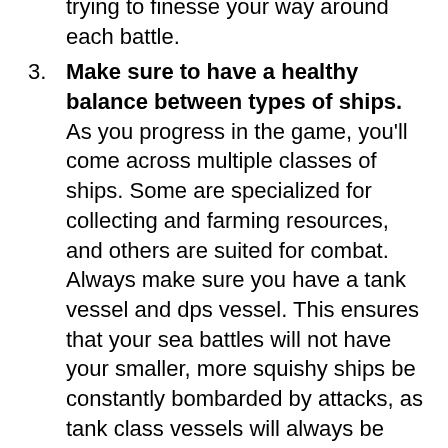trying to finesse your way around each battle.
3. Make sure to have a healthy balance between types of ships. As you progress in the game, you'll come across multiple classes of ships. Some are specialized for collecting and farming resources, and others are suited for combat. Always make sure you have a tank vessel and dps vessel. This ensures that your sea battles will not have your smaller, more squishy ships be constantly bombarded by attacks, as tank class vessels will always be targeted first in sea battles.
4. Scout before you attack so that you can survive with more troops. Scouting out your enemy will give you